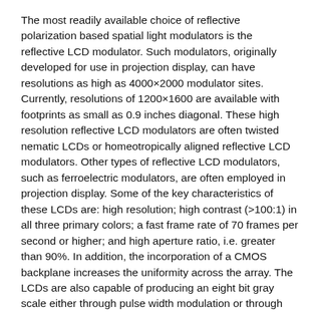The most readily available choice of reflective polarization based spatial light modulators is the reflective LCD modulator. Such modulators, originally developed for use in projection display, can have resolutions as high as 4000×2000 modulator sites. Currently, resolutions of 1200×1600 are available with footprints as small as 0.9 inches diagonal. These high resolution reflective LCD modulators are often twisted nematic LCDs or homeotropically aligned reflective LCD modulators. Other types of reflective LCD modulators, such as ferroelectric modulators, are often employed in projection display. Some of the key characteristics of these LCDs are: high resolution; high contrast (>100:1) in all three primary colors; a fast frame rate of 70 frames per second or higher; and high aperture ratio, i.e. greater than 90%. In addition, the incorporation of a CMOS backplane increases the uniformity across the array. The LCDs are also capable of producing an eight bit gray scale either through pulse width modulation or through analog operation. In either case data may be introduced digitally to the printing system. These characteristics ensure that the reflective LCD modulator is an excellent choice for use in a reflective